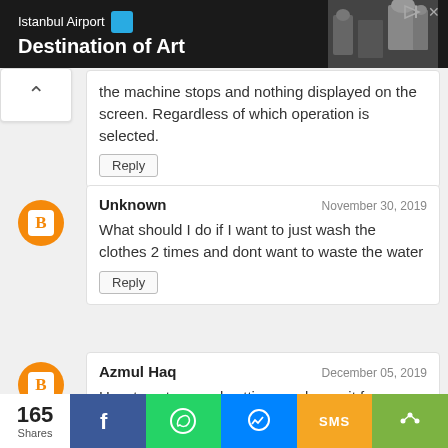[Figure (screenshot): Istanbul Airport 'Destination of Art' advertisement banner with dark background and sculpture photo]
the machine stops and nothing displayed on the screen. Regardless of which operation is selected.
Reply
Unknown
November 30, 2019
What should I do if I want to just wash the clothes 2 times and dont want to waste the water
Reply
Azmul Haq
December 05, 2019
How to set manual settings and save it for use
165 Shares